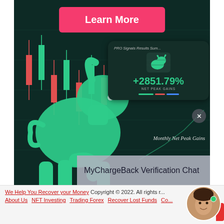[Figure (illustration): Financial trading advertisement with green bull silhouette on dark candlestick chart background. Shows a pink 'Learn More' button at top, a PRO Signals Results card showing +2851.79% NET PEAK GAINS, and a 'Monthly Net Peak Gains' label. A MyChargeBack Verification Chat overlay appears in the lower right.]
MyChargeBack Verification Chat
We Help You Recover your Money  Copyright © 2022. All rights r... | About Us  NFT Investing  Trading Forex  Recover Lost Funds  Co...